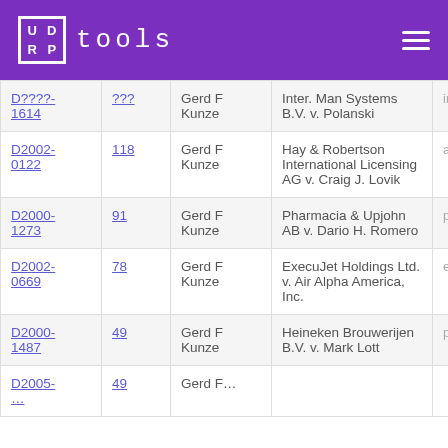UDRP tools
| Case ID | # | Panelist | Case Name | Domain |
| --- | --- | --- | --- | --- |
| D????-1614 | ??? | Gerd F Kunze | Inter. Man Systems B.V. v. Polanski | inco… |
| D2002-0122 | 118 | Gerd F Kunze | Hay & Robertson International Licensing AG v. Craig J. Lovik | admiral… |
| D2000-1273 | 91 | Gerd F Kunze | Pharmacia & Upjohn AB v. Dario H. Romero | pharma… |
| D2002-0669 | 78 | Gerd F Kunze | ExecuJet Holdings Ltd. v. Air Alpha America, Inc. | execuje… |
| D2000-1487 | 49 | Gerd F Kunze | Heineken Brouwerijen B.V. v. Mark Lott | planeth… |
| D2005-… | 49 | Gerd F… | … | … |